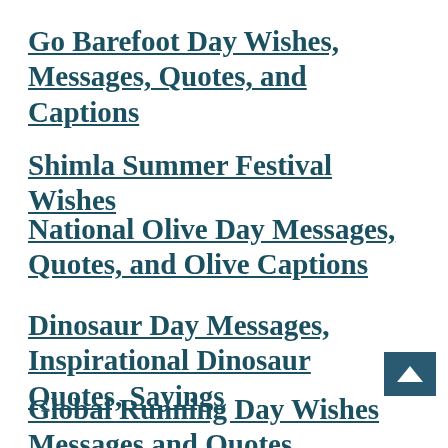Go Barefoot Day Wishes, Messages, Quotes, and Captions
Shimla Summer Festival Wishes
National Olive Day Messages, Quotes, and Olive Captions
Dinosaur Day Messages, Inspirational Dinosaur Quotes, Sayings
Global Running Day Wishes Messages and Quotes